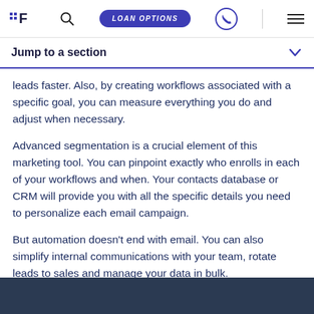LOAN OPTIONS
Jump to a section
leads faster. Also, by creating workflows associated with a specific goal, you can measure everything you do and adjust when necessary.
Advanced segmentation is a crucial element of this marketing tool. You can pinpoint exactly who enrolls in each of your workflows and when. Your contacts database or CRM will provide you with all the specific details you need to personalize each email campaign.
But automation doesn't end with email. You can also simplify internal communications with your team, rotate leads to sales and manage your data in bulk.